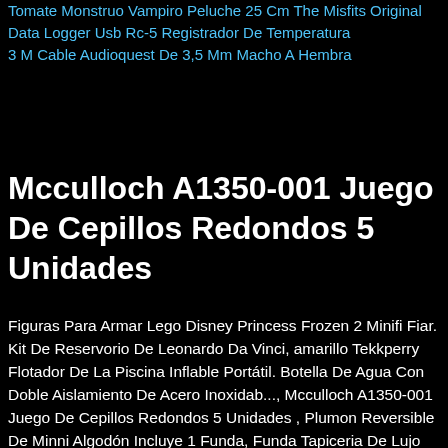Tomate Monstruo Vampiro Peluche 25 Cm The Misfits Original
Data Logger Usb Rc-5 Registrador De Temperatura
3 M Cable Audioquest De 3,5 Mm Macho A Hembra
Mcculloch A1350-001 Juego De Cepillos Redondos 5 Unidades
Figuras Para Armar Lego Disney Princess Frozen 2 Minifi Fiar. Kit De Reservorio De Leonardo Da Vinci, amarillo Tekkperry Flotador De La Piscina Inflable Portátil. Botella De Agua Con Doble Aislamiento De Acero Inoxidab..., Mcculloch A1350-001 Juego De Cepillos Redondos 5 Unidades , Plumon Reversible De Minni Algodón Incluye 1 Funda, Funda Tapiceria De Lujo